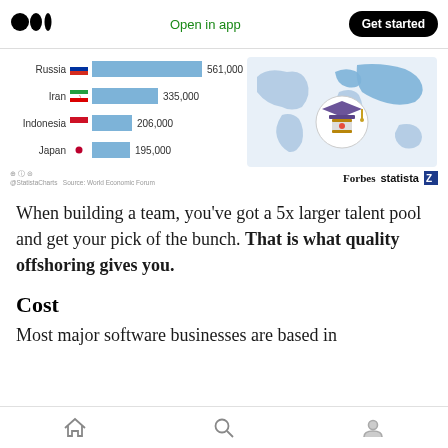Open in app  Get started
[Figure (bar-chart): Statista / Forbes chart showing STEM graduates by country]
@StatistaCharts  Source: World Economic Forum   Forbes  statista
When building a team, you've got a 5x larger talent pool and get your pick of the bunch. That is what quality offshoring gives you.
Cost
Most major software businesses are based in
Home  Search  Profile